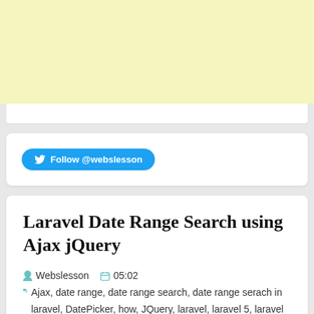[Figure (other): Yellow advertisement banner at top of page]
[Figure (other): Twitter Follow button widget: Follow @webslesson]
Laravel Date Range Search using Ajax jQuery
Webslesson   05:02   Ajax, date range, date range search, date range serach in laravel, DatePicker, how, JQuery, laravel, laravel 5, laravel date range, search, search d...